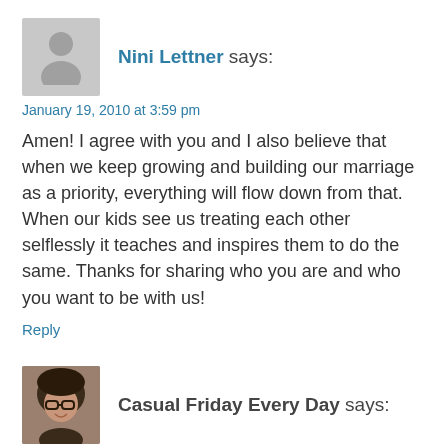[Figure (illustration): Gray silhouette avatar placeholder for user Nini Lettner]
Nini Lettner says:
January 19, 2010 at 3:59 pm
Amen! I agree with you and I also believe that when we keep growing and building our marriage as a priority, everything will flow down from that. When our kids see us treating each other selflessly it teaches and inspires them to do the same. Thanks for sharing who you are and who you want to be with us!
Reply
[Figure (photo): Profile photo of Casual Friday Every Day commenter — woman with glasses and dark hair, smiling]
Casual Friday Every Day says:
January 19, 2010 at 3:38 pm